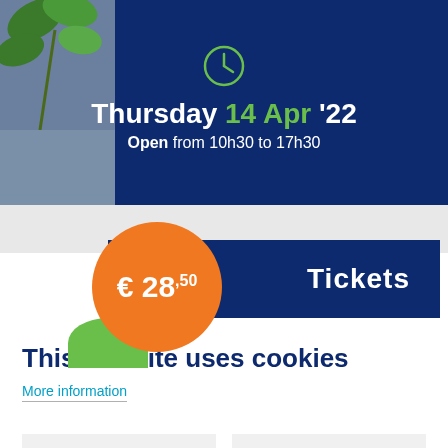[Figure (screenshot): Dark blue banner with clock icon and event date/time information]
Thursday 14 Apr '22
Open from 10h30 to 17h30
[Figure (infographic): Ticket section with orange price bubble showing €28,50 and blue bar with Tickets text]
This website uses cookies
More information
ALLOW ALL COOKIES
CHANGE SETTINGS